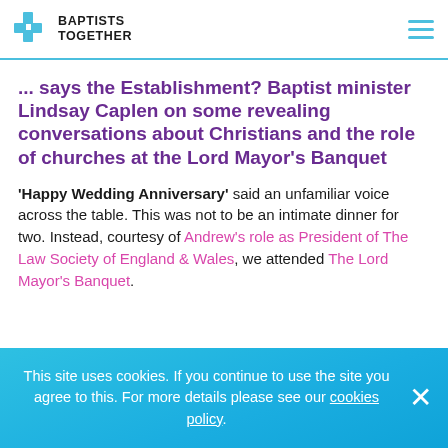BAPTISTS TOGETHER
... says the Establishment? Baptist minister Lindsay Caplen on some revealing conversations about Christians and the role of churches at the Lord Mayor's Banquet
'Happy Wedding Anniversary' said an unfamiliar voice across the table. This was not to be an intimate dinner for two. Instead, courtesy of Andrew's role as President of The Law Society of England & Wales, we attended The Lord Mayor's Banquet.
This site uses cookies. If you continue to use the site you agree to this. For more details please see our cookies policy.